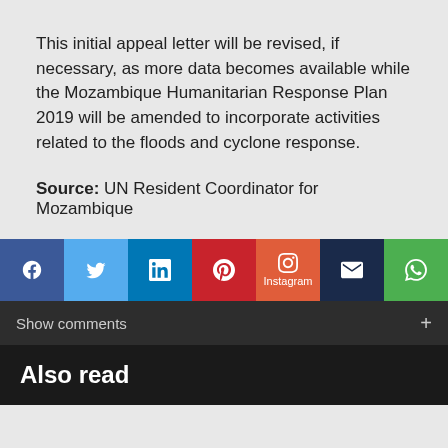This initial appeal letter will be revised, if necessary, as more data becomes available while the Mozambique Humanitarian Response Plan 2019 will be amended to incorporate activities related to the floods and cyclone response.
Source: UN Resident Coordinator for Mozambique
[Figure (infographic): Social media share buttons row: Facebook, Twitter, LinkedIn, Pinterest, Instagram, Email, WhatsApp]
Show comments +
Also read